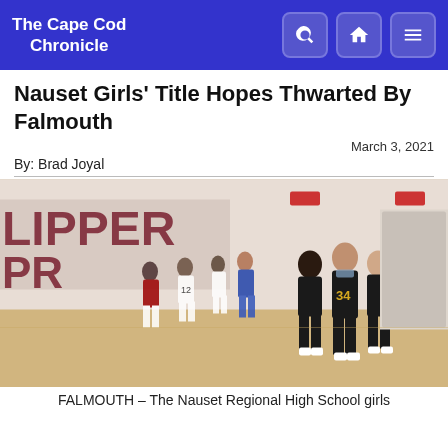The Cape Cod Chronicle
Nauset Girls' Title Hopes Thwarted By Falmouth
March 3, 2021
By: Brad Joyal
[Figure (photo): Girls basketball players in black and gold uniforms huddling on a gymnasium court, with other players and coaches visible in the background near a 'CLIPPER' banner on the wall.]
FALMOUTH – The Nauset Regional High School girls